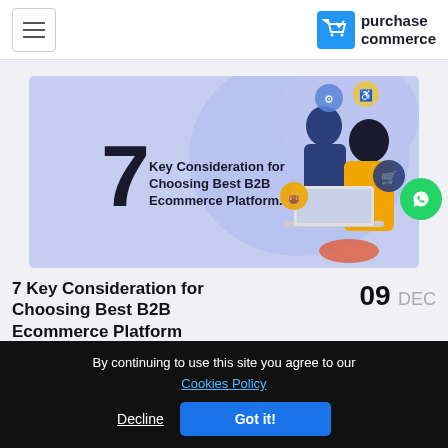purchase commerce
[Figure (illustration): Banner image with light blue background showing two business people looking at a laptop, surrounded by ecommerce icons. Text overlay reads '7 Key Consideration for Choosing Best B2B Ecommerce Platform.']
7 Key Consideration for Choosing Best B2B Ecommerce Platform
09 DEC
by Admin | Share:
By continuing to use this site you agree to our Cookies Policy
Decline  Got it!